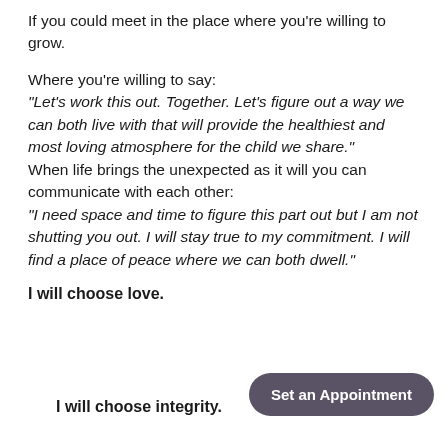If you could meet in the place where you're willing to grow.
Where you're willing to say: “Let’s work this out. Together. Let’s figure out a way we can both live with that will provide the healthiest and most loving atmosphere for the child we share.” When life brings the unexpected as it will you can communicate with each other: “I need space and time to figure this part out but I am not shutting you out. I will stay true to my commitment. I will find a place of peace where we can both dwell.”
I will choose love.
I will choose integrity.